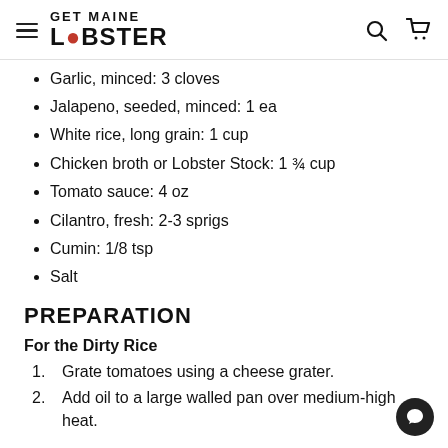Get Maine Lobster
Garlic, minced: 3 cloves
Jalapeno, seeded, minced: 1 ea
White rice, long grain: 1 cup
Chicken broth or Lobster Stock: 1 ¾ cup
Tomato sauce: 4 oz
Cilantro, fresh: 2-3 sprigs
Cumin: 1/8 tsp
Salt
PREPARATION
For the Dirty Rice
1. Grate tomatoes using a cheese grater.
2. Add oil to a large walled pan over medium-high heat.